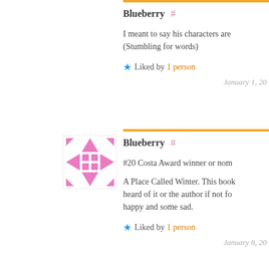Blueberry #
I meant to say his characters are
(Stumbling for words)
★ Liked by 1 person
January 1, 20
[Figure (illustration): Pink geometric avatar icon with diamond and arrow shapes]
Blueberry #
#20 Costa Award winner or nom
A Place Called Winter. This book
heard of it or the author if not fo
happy and some sad.
★ Liked by 1 person
January 8, 20